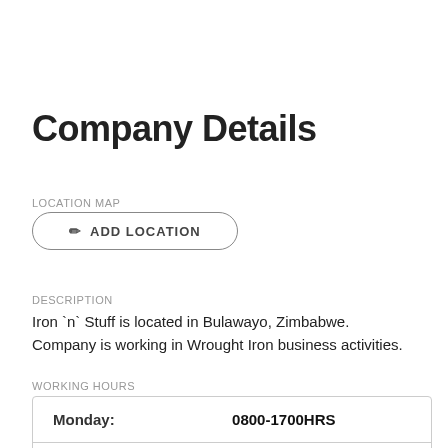Company Details
LOCATION MAP
✏ ADD LOCATION
DESCRIPTION
Iron `n` Stuff is located in Bulawayo, Zimbabwe. Company is working in Wrought Iron business activities.
WORKING HOURS
|  |  |
| --- | --- |
| Monday: | 0800-1700HRS |
| Tuesday: | 0800-1700HRS |